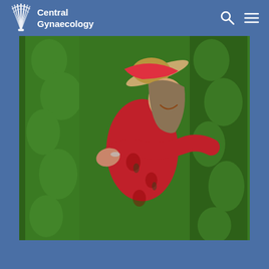[Figure (logo): Central Gynaecology logo with stylized shell/fan icon in white and text 'Central Gynaecology' in white on blue background]
[Figure (photo): Woman wearing a red hat and red floral dress, laughing and looking up with arms outstretched, surrounded by lush green cypress/hedge trees in the background]